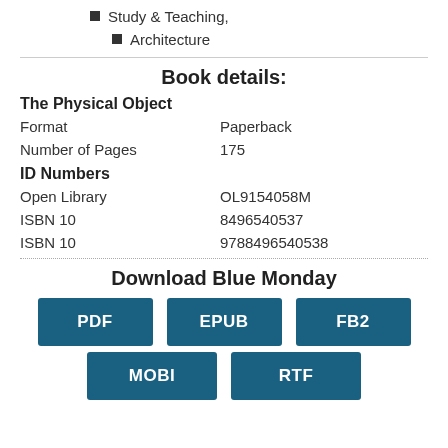Study & Teaching,
Architecture
Book details:
| The Physical Object |  |
| Format | Paperback |
| Number of Pages | 175 |
| ID Numbers |  |
| Open Library | OL9154058M |
| ISBN 10 | 8496540537 |
| ISBN 10 | 9788496540538 |
Download Blue Monday
PDF EPUB FB2 MOBI RTF